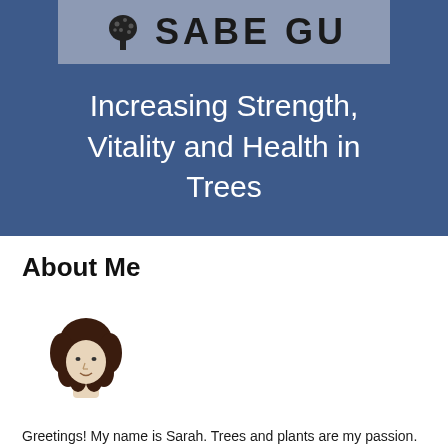[Figure (logo): SABE GU logo with a stylized tree icon on a slate-blue background bar]
Increasing Strength, Vitality and Health in Trees
About Me
[Figure (illustration): Cartoon illustration of a woman with curly brown hair]
Greetings! My name is Sarah. Trees and plants are my passion. In fact, the tree in our backyard is one of my favourite things in my